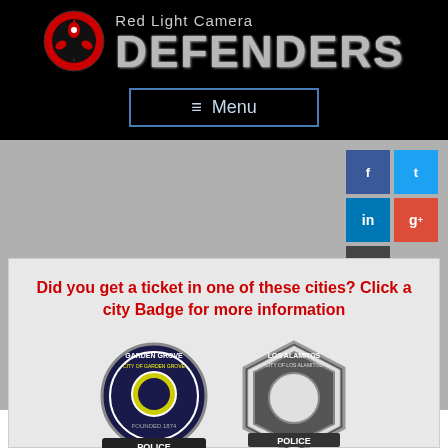Red Light Camera DEFENDERS
≡ Menu
[Figure (screenshot): Social media share buttons: Facebook, Twitter, LinkedIn, Google+, and a chat/comment icon]
Did you get a ticket in one of these cities? Click a city Badge for more information
[Figure (illustration): Two police badge patches: Garden Grove Police and Los Alamitos Police]